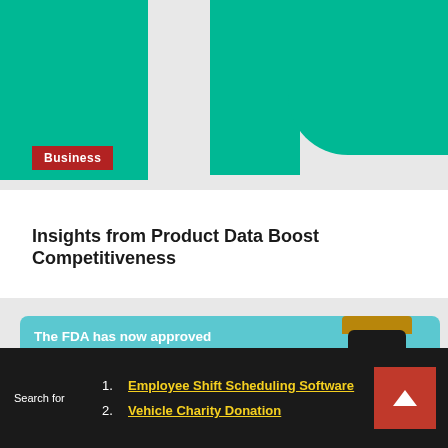[Figure (illustration): Abstract decorative header with three teal/green vertical bars on a light gray background, 'Business' red badge label in lower left]
Insights from Product Data Boost Competitiveness
[Figure (infographic): FDA COVID-19 treatment announcement card with teal background, PAXLOVID bottle image. Text: 'The FDA has now approved the COVID-19 treatment' and 'Paxlovid to relieve mild to moderate [symptoms of COVID]']
1. Employee Shift Scheduling Software
2. Vehicle Charity Donation